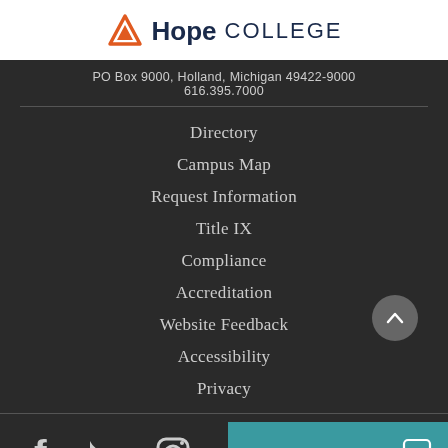[Figure (logo): Hope College logo with orange triangle/mountain icon and text 'Hope COLLEGE' in dark navy]
PO Box 9000, Holland, Michigan 49422-9000
616.395.7000
Directory
Campus Map
Request Information
Title IX
Compliance
Accreditation
Website Feedback
Accessibility
Privacy
[Figure (illustration): Social media icons: Facebook, Twitter, Instagram on dark background with a back-to-top arrow button and a teal 'Leave a message' chat bar]